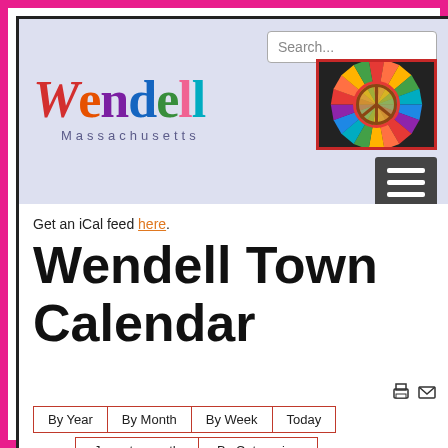[Figure (logo): Wendell Massachusetts colorful logo with psychedelic peace symbol image]
Get an iCal feed here.
Wendell Town Calendar
By Year | By Month | By Week | Today
Jump to month | By Categories